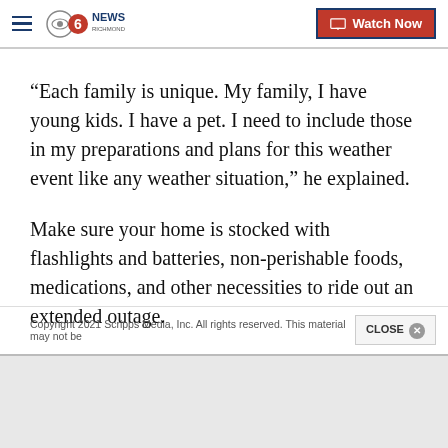CBS 6 NEWS RICHMOND | Watch Now
“Each family is unique. My family, I have young kids. I have a pet. I need to include those in my preparations and plans for this weather event like any weather situation,” he explained.
Make sure your home is stocked with flashlights and batteries, non-perishable foods, medications, and other necessities to ride out an extended outage.
Copyright 2021 Scripps Media, Inc. All rights reserved. This material may not be